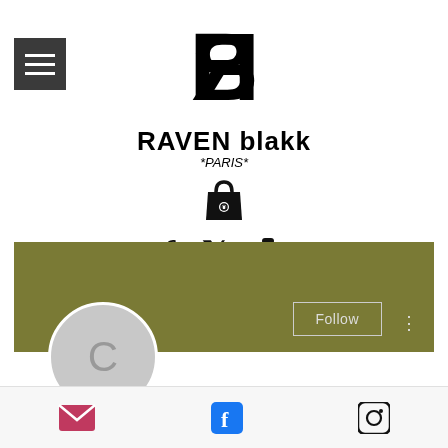[Figure (logo): RAVEN blakk PARIS logo with stylized RB monogram icon above brand name]
[Figure (screenshot): Social profile page screenshot showing olive/khaki banner, circular profile placeholder with letter C, Follow button, three dot menu, social icons (Facebook, Twitter, Instagram/camera), and post title 'Clenbuterol liquid dosage for ...']
Email, Facebook, Instagram share icons at bottom